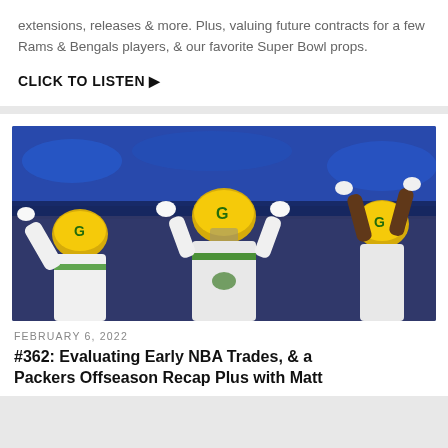extensions, releases & more. Plus, valuing future contracts for a few Rams & Bengals players, & our favorite Super Bowl props.
CLICK TO LISTEN ▶
[Figure (photo): Green Bay Packers players in yellow and green helmets celebrating on the field, raising their hands, with blue-clad crowd in background]
FEBRUARY 6, 2022
#362: Evaluating Early NBA Trades, & a Packers Offseason Recap Plus with Matt...